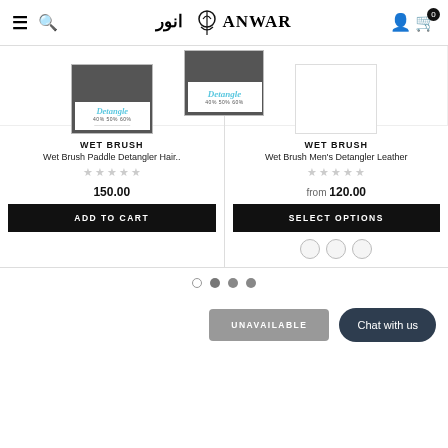ANWAR (Arabic logo) — navigation header with hamburger, search, logo, user, cart icons
[Figure (photo): Product image of Wet Brush Paddle Detangler hair product in dark packaging with white label reading 'Detangle']
WET BRUSH
Wet Brush Paddle Detangler Hair..
★★★★★ (empty stars rating)
150.00
ADD TO CART
WET BRUSH
Wet Brush Men's Detangler Leather
★★★★★ (empty stars rating)
from 120.00
SELECT OPTIONS
Pagination dots
Chat with us
UNAVAILABLE